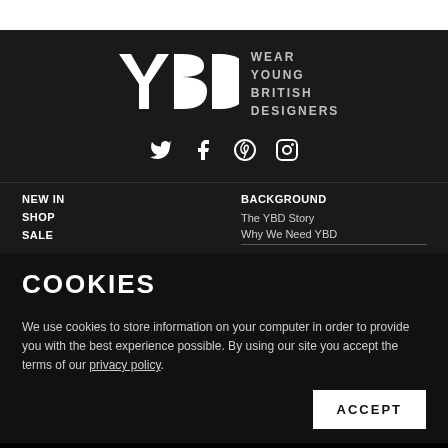[Figure (logo): YBD logo with stylized Y, B, D letters in white and text 'WEAR YOUNG BRITISH DESIGNERS' in grey]
[Figure (infographic): Social media icons: Twitter, Facebook, Pinterest, Instagram in white on dark background]
NEW IN
SHOP
SALE
BACKGROUND
The YBD Story
Why We Need YBD
COOKIES
We use cookies to store information on your computer in order to provide you with the best experience possible. By using our site you accept the terms of our privacy policy.
ACCEPT